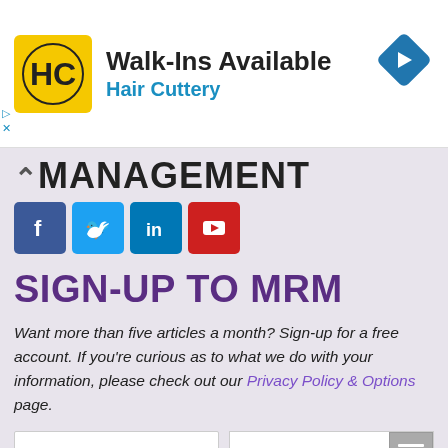[Figure (screenshot): Hair Cuttery advertisement banner with logo, 'Walk-Ins Available' text, and navigation arrow icon]
MANAGEMENT
[Figure (infographic): Social media icons: Facebook, Twitter, LinkedIn, YouTube]
SIGN-UP TO MRM
Want more than five articles a month? Sign-up for a free account. If you're curious as to what we do with your information, please check out our Privacy Policy & Options page.
FIRST NAME * LAST NAME *